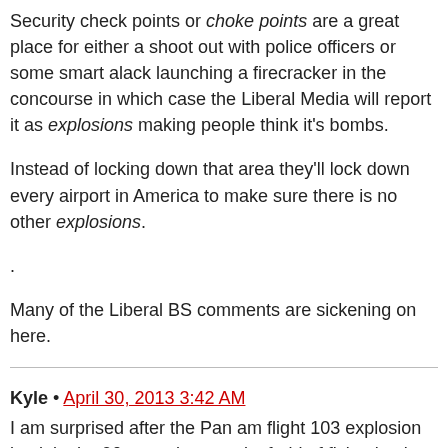Security check points or choke points are a great place for either a shoot out with police officers or some smart alack launching a firecracker in the concourse in which case the Liberal Media will report it as explosions making people think it's bombs.
Instead of locking down that area they'll lock down every airport in America to make sure there is no other explosions.
.
Many of the Liberal BS comments are sickening on here.
Kyle • April 30, 2013 3:42 AM
I am surprised after the Pan am flight 103 explosion back in the 90s people weren't afraid of flying back then wondering if their plane was next.
The first George Bush should've had us go to war with Libya back then since Libya refused to hand over the terrorist until many years later when there was sanctions against them.
Sanctions are where you block trading and goods from